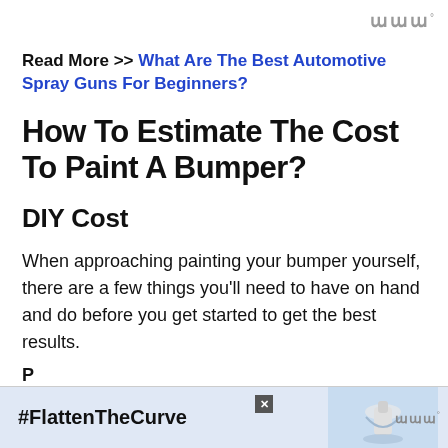ɯɯɯ°
Read More >> What Are The Best Automotive Spray Guns For Beginners?
How To Estimate The Cost To Paint A Bumper?
DIY Cost
When approaching painting your bumper yourself, there are a few things you'll need to have on hand and do before you get started to get the best results.
[Figure (infographic): Advertisement banner with #FlattenTheCurve hashtag and handwashing image, with close button and logo]